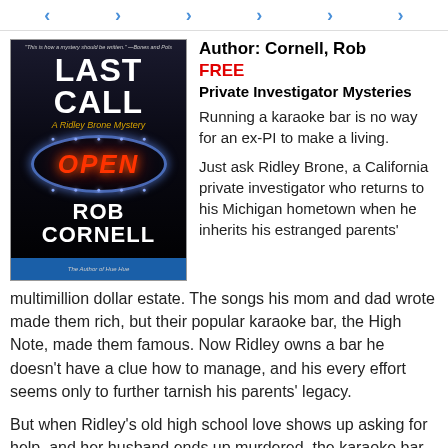< > > > >
[Figure (illustration): Book cover for 'Last Call: A Ridley Brone Mystery' by Rob Cornell. Dark background with neon OPEN sign and blue dot oval border. White bold text for title and author name. Blue bar at bottom.]
Author: Cornell, Rob
FREE
Private Investigator Mysteries
Running a karaoke bar is no way for an ex-PI to make a living.
Just ask Ridley Brone, a California private investigator who returns to his Michigan hometown when he inherits his estranged parents' multimillion dollar estate. The songs his mom and dad wrote made them rich, but their popular karaoke bar, the High Note, made them famous. Now Ridley owns a bar he doesn't have a clue how to manage, and his every effort seems only to further tarnish his parents' legacy.
But when Ridley's old high school love shows up asking for help, and her husband ends up murdered, the karaoke bar